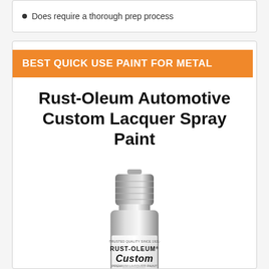Does require a thorough prep process
BEST QUICK USE PAINT FOR METAL
Rust-Oleum Automotive Custom Lacquer Spray Paint
[Figure (photo): Rust-Oleum Custom Lacquer Spray Paint can in silver/chrome color with car graphic on label]